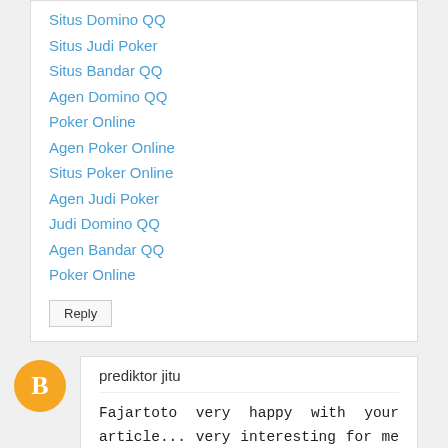Situs Domino QQ
Situs Judi Poker
Situs Bandar QQ
Agen Domino QQ
Poker Online
Agen Poker Online
Situs Poker Online
Agen Judi Poker
Judi Domino QQ
Agen Bandar QQ
Poker Online
Reply
prediktor jitu
Fajartoto very happy with your article... very interesting for me to read. Fajartoto will also always visit your website. Thank you for sharing this information with us.
agen togel